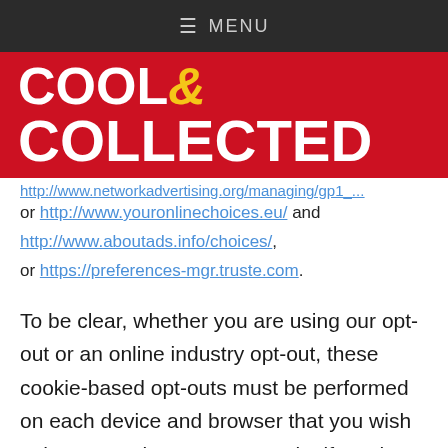≡ MENU
[Figure (logo): Cool & Collected logo — white bold text on red background with yellow ampersand]
http://www.networkadvertising.org/managing/g...p1_... or http://www.youronlinechoices.eu/ and http://www.aboutads.info/choices/, or https://preferences-mgr.truste.com.
To be clear, whether you are using our opt-out or an online industry opt-out, these cookie-based opt-outs must be performed on each device and browser that you wish to have opted-out. For example, if you have opted-out on your computer browser, that opt-out will not be effective on your